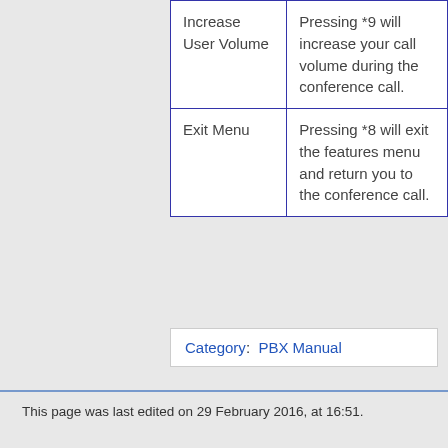| Increase User Volume | Pressing *9 will increase your call volume during the conference call. |
| Exit Menu | Pressing *8 will exit the features menu and return you to the conference call. |
Category:  PBX Manual
This page was last edited on 29 February 2016, at 16:51.